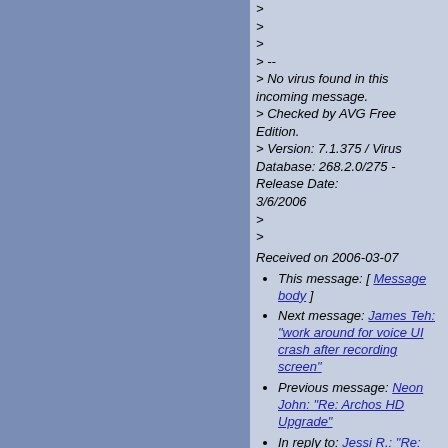>
>
>
> --
> No virus found in this incoming message.
> Checked by AVG Free Edition.
> Version: 7.1.375 / Virus Database: 268.2.0/275 - Release Date:
3/6/2006
>
>
Received on 2006-03-07
This message: [ Message body ]
Next message: James Teh: "work around for voice UI crash after recording screen"
Previous message: Neon John: "Re: Archos HD Upgrade"
In reply to: Jessi R.: "Re: random Iriver questions"
Next in thread: Rocker: "Re: random Iriver questions"
Contemporary messages sorted: [ by date ] [ by thread ] [ by subject ] [ by author ] [ by messages with attachments ]
Page template was last modified "Tue Sep 7 00:00:02 2021" The Rockbox Crew -- Privacy Policy